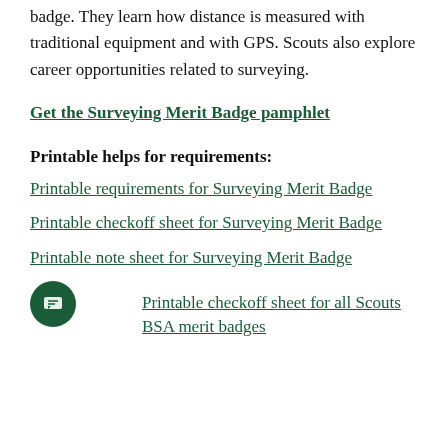badge. They learn how distance is measured with traditional equipment and with GPS. Scouts also explore career opportunities related to surveying.
Get the Surveying Merit Badge pamphlet
Printable helps for requirements:
Printable requirements for Surveying Merit Badge
Printable checkoff sheet for Surveying Merit Badge
Printable note sheet for Surveying Merit Badge
Printable checkoff sheet for all Scouts BSA merit badges